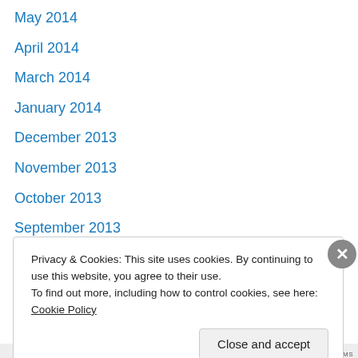May 2014
April 2014
March 2014
January 2014
December 2013
November 2013
October 2013
September 2013
August 2013
July 2013
May 2013
April 2013
January 2013
Privacy & Cookies: This site uses cookies. By continuing to use this website, you agree to their use.
To find out more, including how to control cookies, see here: Cookie Policy
Close and accept